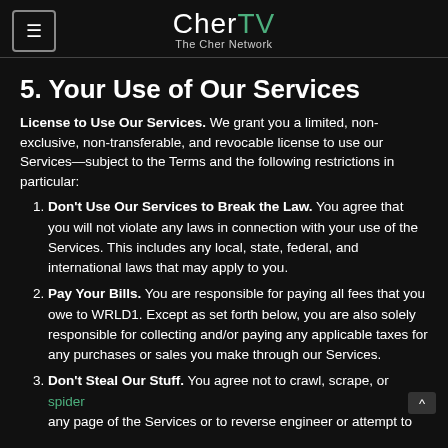CherTV The Cher Network
5. Your Use of Our Services
License to Use Our Services. We grant you a limited, non-exclusive, non-transferable, and revocable license to use our Services—subject to the Terms and the following restrictions in particular:
Don't Use Our Services to Break the Law. You agree that you will not violate any laws in connection with your use of the Services. This includes any local, state, federal, and international laws that may apply to you.
Pay Your Bills. You are responsible for paying all fees that you owe to WRLD1. Except as set forth below, you are also solely responsible for collecting and/or paying any applicable taxes for any purchases or sales you make through our Services.
Don't Steal Our Stuff. You agree not to crawl, scrape, or spider any page of the Services or to reverse engineer or attempt to